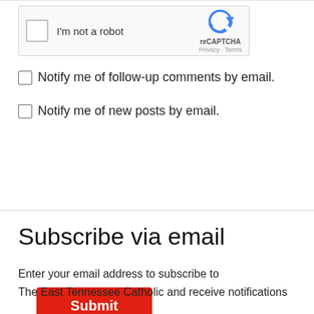[Figure (screenshot): reCAPTCHA widget with checkbox labeled 'I'm not a robot' and Google reCAPTCHA logo with Privacy and Terms links]
Notify me of follow-up comments by email.
Notify me of new posts by email.
Submit
Subscribe via email
Enter your email address to subscribe to
The East Tennessee Catholic and receive notifications